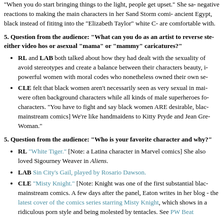"When you do start bringing things to the light, people get upset." She sa- negative reactions to making the main characters in her Sand Storm comi- ancient Egypt, black instead of fititng into the "Elizabeth Taylor" white C- are comfortable with.
5. Question from the audience: "What can you do as an artist to reverse ste- either video hos or asexual "mama" or "mammy" caricatures?"
RL and LAB both talked about how they had dealt with the sexuality of avoid stereotypes and create a balance between their characters beauty, i- powerful women with moral codes who nonetheless owned their own se-
CLE felt that black women aren't necessarily seen as very sexual in mai- were often background characters while all kinds of male superheroes fo- characters. "You have to fight and say black women ARE desirable, blac- mainstream comics] We're like handmaidens to Kitty Pryde and Jean Gre- Woman."
5. Question from the audience: "Who is your favorite character and why?"
RL "White Tiger." [Note: a Latina character in Marvel comics] She also loved Sigourney Weaver in Aliens.
LAB Sin City's Gail, played by Rosario Dawson.
CLE "Misty Knight." [Note: Knight was one of the first substantial blac- mainstream comics. A few days after the panel, Eaton writes in her blog - the latest cover of the comics series starring Misty Knight, which shows in a ridiculous porn style and being molested by tentacles. See PW Beat